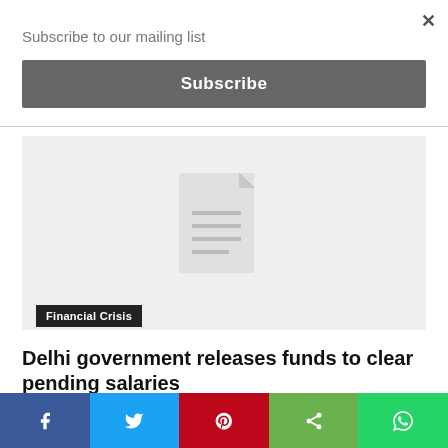Subscribe to our mailing list
Subscribe
[Figure (screenshot): Article thumbnail placeholder image with a document/file icon on a light grey background]
Financial Crisis
Delhi government releases funds to clear pending salaries